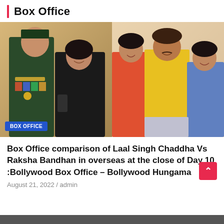Box Office
[Figure (photo): Left: A man in military uniform with medals standing next to a woman in black clothing — movie still from Laal Singh Chaddha. Overlay badge: BOX OFFICE. Right: A man in yellow kurta sitting with two young women — movie still from Raksha Bandhan.]
Box Office comparison of Laal Singh Chaddha Vs Raksha Bandhan in overseas at the close of Day 10 :Bollywood Box Office – Bollywood Hungama
August 21, 2022 / admin